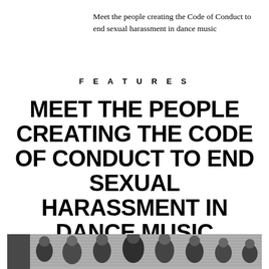Meet the people creating the Code of Conduct to end sexual harassment in dance music
FEATURES
MEET THE PEOPLE CREATING THE CODE OF CONDUCT TO END SEXUAL HARASSMENT IN DANCE MUSIC
[Figure (photo): Black and white group photo of approximately 8-10 people, mostly women, posed together indoors against a corrugated wall or door background.]